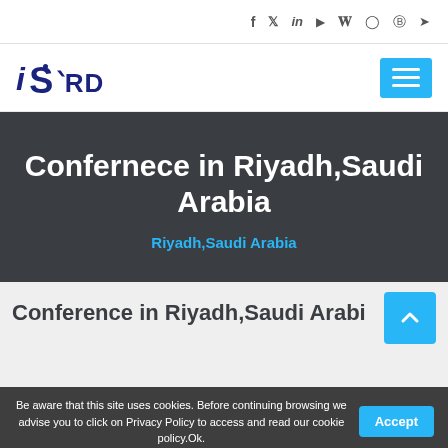Social media icons: f, twitter, in, youtube, wordpress, instagram, pinterest, telegram
[Figure (logo): ISERD logo with stylized text in dark blue]
Confernece in Riyadh,Saudi Arabia
Riyadh,Saudi Arabia
Conference in Riyadh,Saudi Arabi...
Be aware that this site uses cookies. Before continuing browsing we advise you to click on Privacy Policy to access and read our cookie policy.Ok.